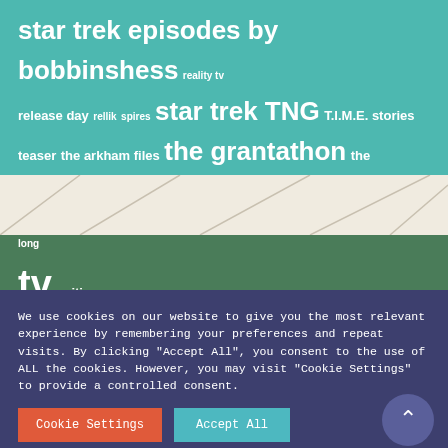star trek episodes by bobbinshess reality tv release day rellik spires star trek TNG T.I.M.E. stories teaser the arkham files the grantathon the RITAs things i liked this really is too fucking long tv writing
[Figure (illustration): Beige section with diagonal decorative lines]
We use cookies on our website to give you the most relevant experience by remembering your preferences and repeat visits. By clicking "Accept All", you consent to the use of ALL the cookies. However, you may visit "Cookie Settings" to provide a controlled consent.
Cookie Settings  Accept All